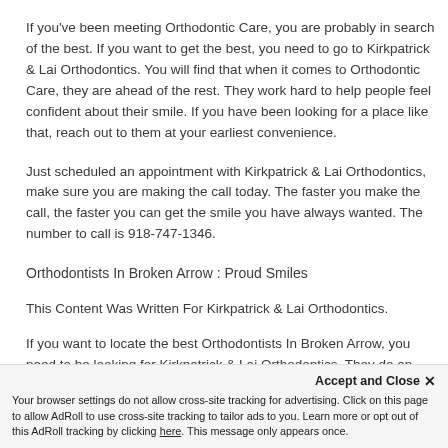If you've been meeting Orthodontic Care, you are probably in search of the best. If you want to get the best, you need to go to Kirkpatrick & Lai Orthodontics. You will find that when it comes to Orthodontic Care, they are ahead of the rest. They work hard to help people feel confident about their smile. If you have been looking for a place like that, reach out to them at your earliest convenience.
Just scheduled an appointment with Kirkpatrick & Lai Orthodontics, make sure you are making the call today. The faster you make the call, the faster you can get the smile you have always wanted. The number to call is 918-747-1346.
Orthodontists In Broken Arrow : Proud Smiles
This Content Was Written For Kirkpatrick & Lai Orthodontics.
If you want to locate the best Orthodontists In Broken Arrow, you need to be looking for Kirkpatrick & Lai Orthodontics. They do an excellent job and they work hard to give you the end result you're looking to achieve. Visit their website today to see some of t...
Accept and Close ✕
Your browser settings do not allow cross-site tracking for advertising. Click on this page to allow AdRoll to use cross-site tracking to tailor ads to you. Learn more or opt out of this AdRoll tracking by clicking here. This message only appears once.